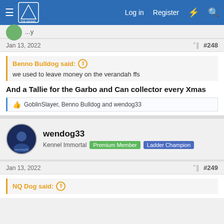The Kennel forum navigation bar with Log in, Register, and search icons
Jan 13, 2022  #248
Benno Bulldog said: ↑
we used to leave money on the verandah ffs
And a Tallie for the Garbo and Can collector every Xmas
GoblinSlayer, Benno Bulldog and wendog33
wendog33
Kennel Immortal  Premium Member  Ladder Champion
Jan 13, 2022  #249
NQ Dog said: ↑